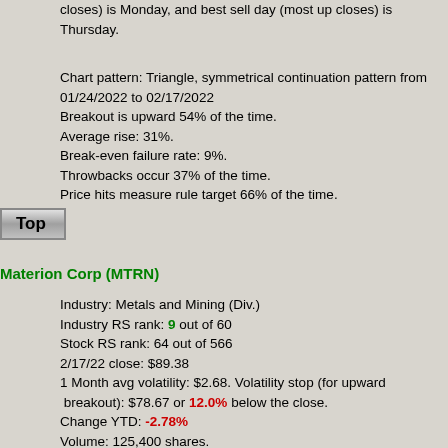closes) is Monday, and best sell day (most up closes) is Thursday.
Chart pattern: Triangle, symmetrical continuation pattern from 01/24/2022 to 02/17/2022
Breakout is upward 54% of the time.
Average rise: 31%.
Break-even failure rate: 9%.
Throwbacks occur 37% of the time.
Price hits measure rule target 66% of the time.
Top
Materion Corp (MTRN)
Industry: Metals and Mining (Div.)
Industry RS rank: 9 out of 60
Stock RS rank: 64 out of 566
2/17/22 close: $89.38
1 Month avg volatility: $2.68. Volatility stop (for upward breakout): $78.67 or 12.0% below the close.
Change YTD: -2.78%
Volume: 125,400 shares.
Since 2009 bear market, the best buy day (fewest up closes) is Monday, and best sell day (most up closes) is Thursday.